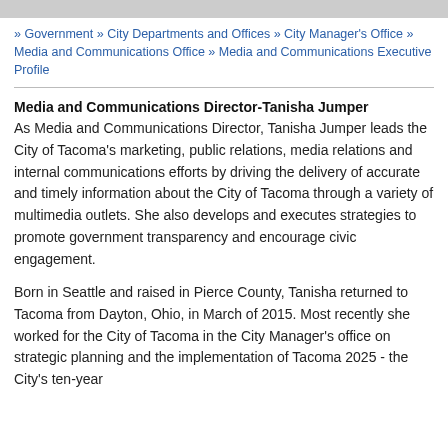» Government » City Departments and Offices » City Manager's Office » Media and Communications Office » Media and Communications Executive Profile
Media and Communications Director-Tanisha Jumper
As Media and Communications Director, Tanisha Jumper leads the City of Tacoma's marketing, public relations, media relations and internal communications efforts by driving the delivery of accurate and timely information about the City of Tacoma through a variety of multimedia outlets. She also develops and executes strategies to promote government transparency and encourage civic engagement.
Born in Seattle and raised in Pierce County, Tanisha returned to Tacoma from Dayton, Ohio, in March of 2015. Most recently she worked for the City of Tacoma in the City Manager's office on strategic planning and the implementation of Tacoma 2025 - the City's ten-year comprehensive plan developed to facilitate growth and